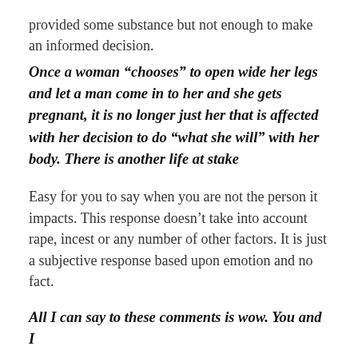provided some substance but not enough to make an informed decision.
Once a woman “chooses” to open wide her legs and let a man come in to her and she gets pregnant, it is no longer just her that is affected with her decision to do “what she will” with her body. There is another life at stake
Easy for you to say when you are not the person it impacts. This response doesn’t take into account rape, incest or any number of other factors. It is just a subjective response based upon emotion and no fact.
All I can say to these comments is wow. You and I